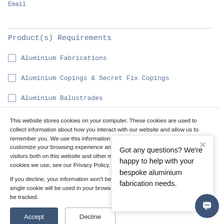Email
Product(s) Requirements
Aluminium Fabrications
Aluminium Copings & Secret Fix Copings
Aluminium Balustrades
This website stores cookies on your computer. These cookies are used to collect information about how you interact with our website and allow us to remember you. We use this information in order to improve and customize your browsing experience and for analytics and metrics about our visitors both on this website and other media. To find out more about the cookies we use, see our Privacy Policy.

If you decline, your information won't be tracked when you visit this website. A single cookie will be used in your browser to remember your preference not to be tracked.
Got any questions? We're happy to help with your bespoke aluminium fabrication needs.
Accept
Decline